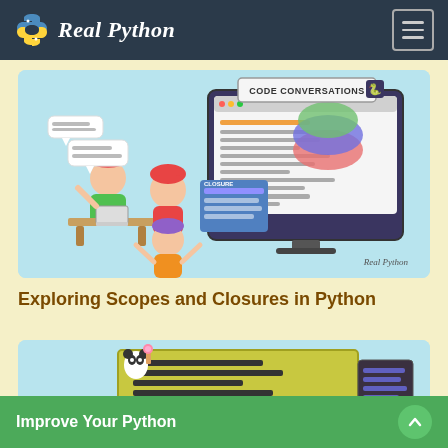Real Python
[Figure (illustration): Code Conversations illustration: three cartoon figures working around a large monitor showing code and closures, with speech bubbles. Real Python watermark in lower right.]
Exploring Scopes and Closures in Python
[Figure (illustration): Illustration of cartoon pandas working on a large code editor/data structure, with colorful components.]
Improve Your Python